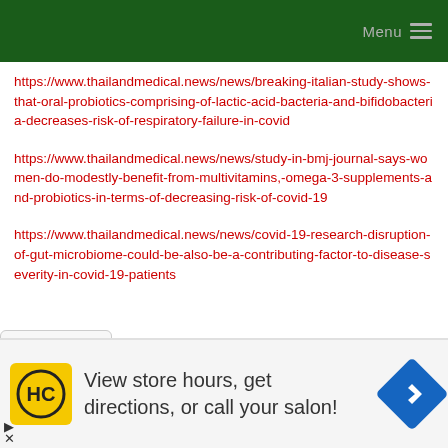Menu
https://www.thailandmedical.news/news/breaking-italian-study-shows-that-oral-probiotics-comprising-of-lactic-acid-bacteria-and-bifidobacteria-decreases-risk-of-respiratory-failure-in-covid
https://www.thailandmedical.news/news/study-in-bmj-journal-says-women-do-modestly-benefit-from-multivitamins,-omega-3-supplements-and-probiotics-in-terms-of-decreasing-risk-of-covid-19
https://www.thailandmedical.news/news/covid-19-research-disruption-of-gut-microbiome-could-be-also-be-a-contributing-factor-to-disease-severity-in-covid-19-patients
www.thailandmedical.news/news/covid-19-treatments...
View store hours, get directions, or call your salon!